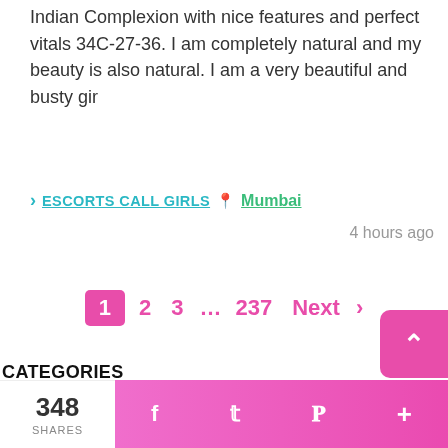Indian Complexion with nice features and perfect vitals 34C-27-36. I am completely natural and my beauty is also natural. I am a very beautiful and busty gir
ESCORTS CALL GIRLS  Mumbai  4 hours ago
1  2  3  …  237  Next  >
CATEGORIES
348 SHARES